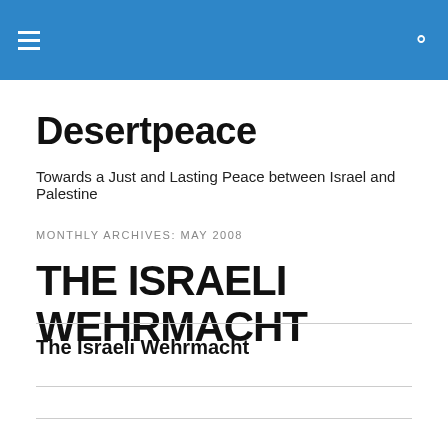Desertpeace — navigation header with menu and search icons
Desertpeace
Towards a Just and Lasting Peace between Israel and Palestine
MONTHLY ARCHIVES: MAY 2008
THE ISRAELI WEHRMACHT
The Israeli Wehrmacht